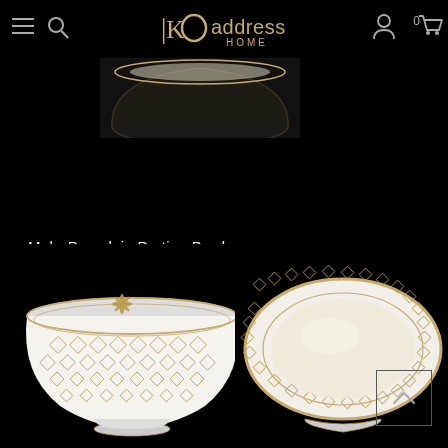Address Home – navigation bar with hamburger menu, search icon, Address Home logo, user icon, cart (0)
[Figure (photo): Top-down partial view of a porcelain bowl with dark background showing the rim and inside]
Mehr Porcelain Portion Bowl
Rs. 750
ADD TO CART
[Figure (photo): Front view of a white porcelain bowl with gold geometric diamond lattice pattern and a floral motif on the side]
[Figure (photo): Angled top view of the same white porcelain bowl with gold diamond border pattern]